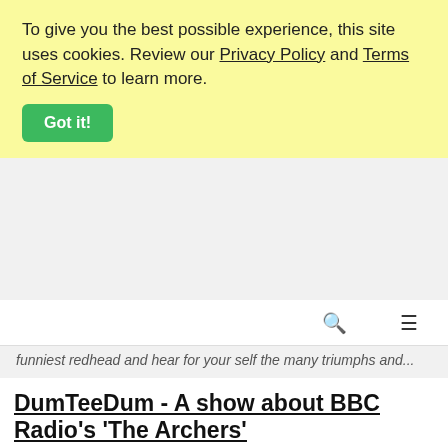To give you the best possible experience, this site uses cookies. Review our Privacy Policy and Terms of Service to learn more.
Got it!
funniest redhead and hear for your self the many triumphs and...
DumTeeDum - A show about BBC Radio's 'The Archers'
3D  AGO
DumTeeDum is a weekly podcast about The Archers featuring fans of Ambridge. Our GDPR privacy policy was updated on August 8, 2023...